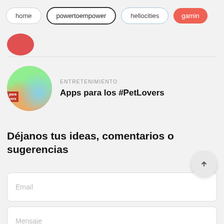home | powertoempower | hellocities | gaming
[Figure (photo): Partially visible circular red avatar image at top]
ENTRETENIMIENTO
Apps para los #PetLovers
Déjanos tus ideas, comentarios o sugerencias
Email
Mensaje